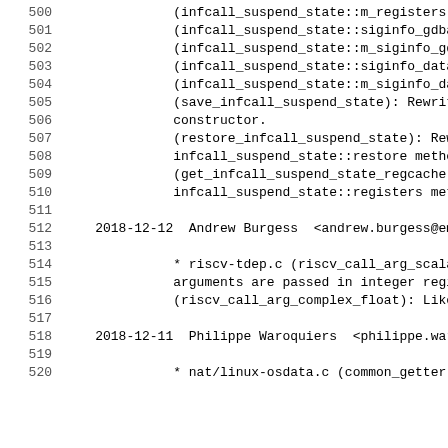500   (infcall_suspend_state::m_registers):
501   (infcall_suspend_state::siginfo_gdbarc
502   (infcall_suspend_state::m_siginfo_gdba
503   (infcall_suspend_state::siginfo_data):
504   (infcall_suspend_state::m_siginfo_data
505   (save_infcall_suspend_state): Rewrite
506   constructor.
507   (restore_infcall_suspend_state): Rewri
508   infcall_suspend_state::restore method.
509   (get_infcall_suspend_state_regcache):
510   infcall_suspend_state::registers metho
511
512 2018-12-12  Andrew Burgess  <andrew.burgess@em
513
514   * riscv-tdep.c (riscv_call_arg_scalar_
515   arguments are passed in integer regist
516   (riscv_call_arg_complex_float): Likewi
517
518 2018-12-11  Philippe Waroquiers  <philippe.war
519
520   * nat/linux-osdata.c (common_getter):